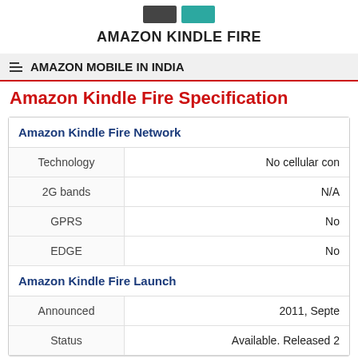[Figure (other): Two device images side by side (dark and teal colored Kindle Fire tablets)]
AMAZON KINDLE FIRE
AMAZON MOBILE IN INDIA
Amazon Kindle Fire Specification
|  |  |
| --- | --- |
| Amazon Kindle Fire Network |  |
| Technology | No cellular con |
| 2G bands | N/A |
| GPRS | No |
| EDGE | No |
| Amazon Kindle Fire Launch |  |
| Announced | 2011, Septe |
| Status | Available. Released 2 |